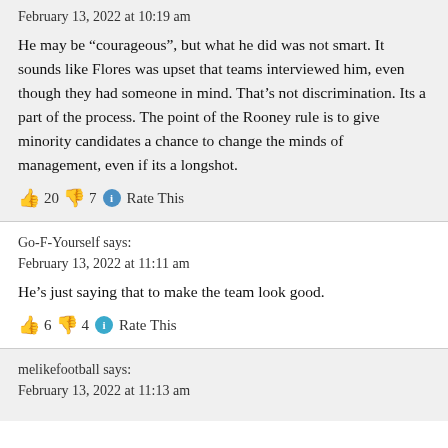February 13, 2022 at 10:19 am
He may be “courageous”, but what he did was not smart. It sounds like Flores was upset that teams interviewed him, even though they had someone in mind. That’s not discrimination. Its a part of the process. The point of the Rooney rule is to give minority candidates a chance to change the minds of management, even if its a longshot.
👍 20 👎 7 ℹ Rate This
Go-F-Yourself says:
February 13, 2022 at 11:11 am
He’s just saying that to make the team look good.
👍 6 👎 4 ℹ Rate This
melikefootball says:
February 13, 2022 at 11:13 am